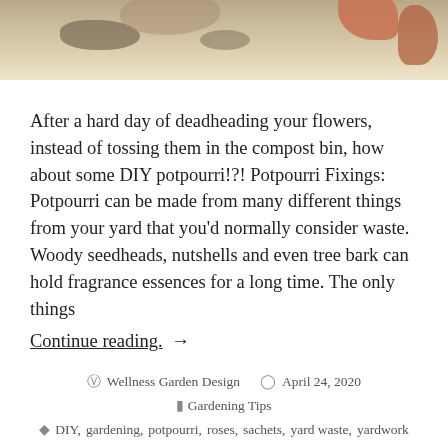[Figure (photo): Partial photo of flowers/hands with beige/brown tones, cropped at top of page]
After a hard day of deadheading your flowers, instead of tossing them in the compost bin, how about some DIY potpourri!?! Potpourri Fixings: Potpourri can be made from many different things from your yard that you'd normally consider waste. Woody seedheads, nutshells and even tree bark can hold fragrance essences for a long time. The only things
Continue reading. →
Wellness Garden Design   April 24, 2020
Gardening Tips
DIY, gardening, potpourri, roses, sachets, yard waste, yardwork
2 Comments